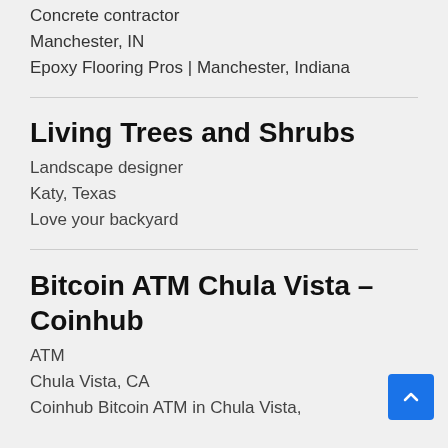Concrete contractor
Manchester, IN
Epoxy Flooring Pros | Manchester, Indiana
Living Trees and Shrubs
Landscape designer
Katy, Texas
Love your backyard
Bitcoin ATM Chula Vista – Coinhub
ATM
Chula Vista, CA
Coinhub Bitcoin ATM in Chula Vista,